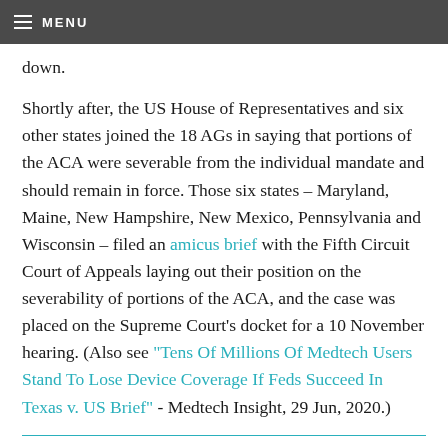MENU
down.
Shortly after, the US House of Representatives and six other states joined the 18 AGs in saying that portions of the ACA were severable from the individual mandate and should remain in force. Those six states – Maryland, Maine, New Hampshire, New Mexico, Pennsylvania and Wisconsin – filed an amicus brief with the Fifth Circuit Court of Appeals laying out their position on the severability of portions of the ACA, and the case was placed on the Supreme Court’s docket for a 10 November hearing. (Also see “Tens Of Millions Of Medtech Users Stand To Lose Device Coverage If Feds Succeed In Texas v. US Brief” - Medtech Insight, 29 Jun, 2020.)
“The individual mandate was the critical